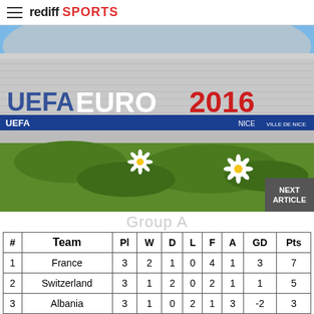rediff SPORTS
[Figure (photo): UEFA Euro 2016 stadium exterior with large UEFA EURO 2016 signage, flowers in foreground, Nice venue branding visible]
Group A
| # | Team | Pl | W | D | L | F | A | GD | Pts |
| --- | --- | --- | --- | --- | --- | --- | --- | --- | --- |
| 1 | France | 3 | 2 | 1 | 0 | 4 | 1 | 3 | 7 |
| 2 | Switzerland | 3 | 1 | 2 | 0 | 2 | 1 | 1 | 5 |
| 3 | Albania | 3 | 1 | 0 | 2 | 1 | 3 | -2 | 3 |